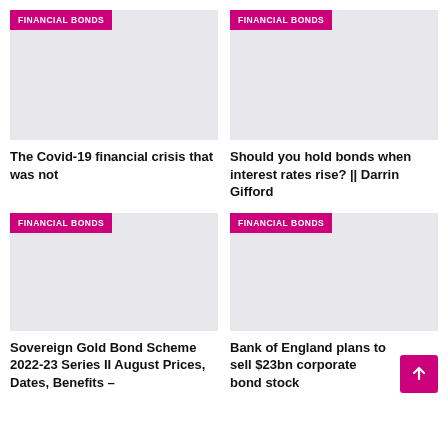[Figure (photo): Placeholder image with FINANCIAL BONDS tag – top left card]
[Figure (photo): Placeholder image with FINANCIAL BONDS tag – top right card]
The Covid-19 financial crisis that was not
Should you hold bonds when interest rates rise? || Darrin Gifford
[Figure (photo): Placeholder image with FINANCIAL BONDS tag – bottom left card]
[Figure (photo): Placeholder image with FINANCIAL BONDS tag – bottom right card]
Sovereign Gold Bond Scheme 2022-23 Series II August Prices, Dates, Benefits –
Bank of England plans to sell $23bn corporate bond stock